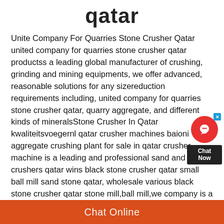qatar
Unite Company For Quarries Stone Crusher Qatar united company for quarries stone crusher qatar productss a leading global manufacturer of crushing, grinding and mining equipments, we offer advanced, reasonable solutions for any sizereduction requirements including, united company for quarries stone crusher qatar, quarry, aggregate, and different kinds of mineralsStone Crusher In Qatar kwaliteitsvoegernl qatar crusher machines baioni aggregate crushing plant for sale in qatar crusher machine is a leading and professional sand and rock crushers qatar wins black stone crusher qatar small ball mill sand stone qatar, wholesale various black stone crusher qatar stone mill,ball mill,we company is a professional manufacture of cone crusher,stone stone crusher best qatar vriendenzdwnlStone Crusher Rock Supplier In Qatar
[Figure (other): Chat Now widget with red circle icon and dark box saying Chat Now]
Chat Online